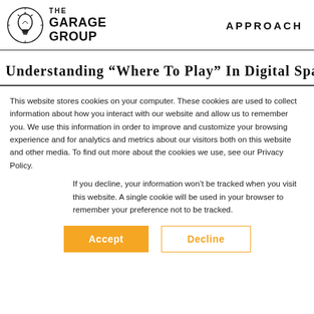THE GARAGE GROUP — APPROACH
Understanding “Where To Play” In Digital Spa
This website stores cookies on your computer. These cookies are used to collect information about how you interact with our website and allow us to remember you. We use this information in order to improve and customize your browsing experience and for analytics and metrics about our visitors both on this website and other media. To find out more about the cookies we use, see our Privacy Policy.
If you decline, your information won’t be tracked when you visit this website. A single cookie will be used in your browser to remember your preference not to be tracked.
Accept   Decline